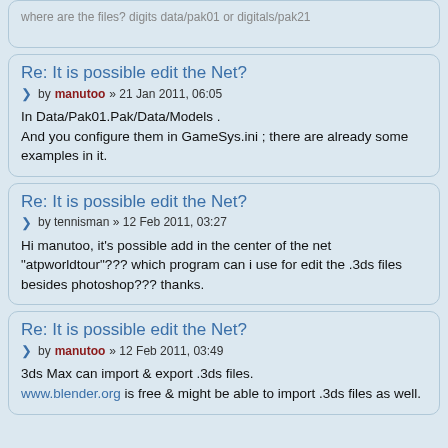where are the files? digits data/pak01 or digitals/pak21
Re: It is possible edit the Net?
by manutoo » 21 Jan 2011, 06:05
In Data/Pak01.Pak/Data/Models .
And you configure them in GameSys.ini ; there are already some examples in it.
Re: It is possible edit the Net?
by tennisman » 12 Feb 2011, 03:27
Hi manutoo, it's possible add in the center of the net "atpworldtour"??? which program can i use for edit the .3ds files besides photoshop??? thanks.
Re: It is possible edit the Net?
by manutoo » 12 Feb 2011, 03:49
3ds Max can import & export .3ds files.
www.blender.org is free & might be able to import .3ds files as well.